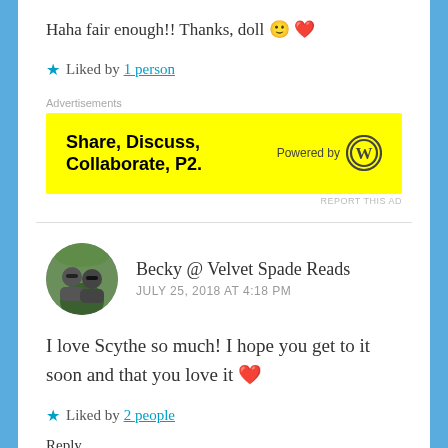Haha fair enough!! Thanks, doll 🙂 ❤
★ Liked by 1 person
[Figure (other): Yellow advertisement banner: Share, Discuss, Collaborate, P2. Powered by WordPress logo.]
Becky @ Velvet Spade Reads — JULY 25, 2018 AT 4:18 PM
I love Scythe so much! I hope you get to it soon and that you love it ❤
★ Liked by 2 people
Reply